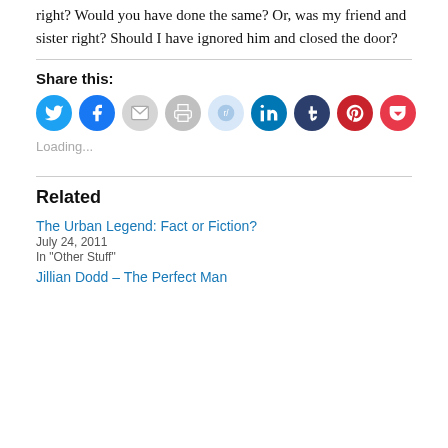right? Would you have done the same? Or, was my friend and sister right? Should I have ignored him and closed the door?
Share this:
[Figure (other): Row of social sharing icon buttons: Twitter (blue), Facebook (blue), Email (gray), Print (gray), Reddit (light blue), LinkedIn (dark blue), Tumblr (dark blue), Pinterest (red), Pocket (red)]
Loading...
Related
The Urban Legend: Fact or Fiction?
July 24, 2011
In "Other Stuff"
Jillian Dodd – The Perfect Man